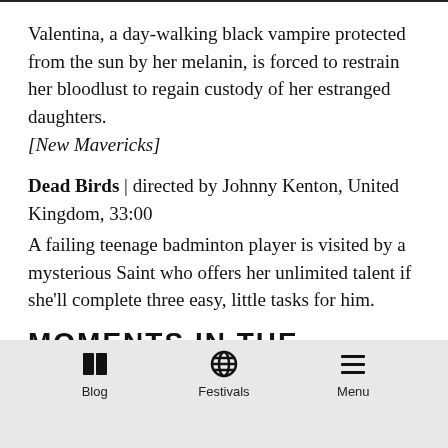Valentina, a day-walking black vampire protected from the sun by her melanin, is forced to restrain her bloodlust to regain custody of her estranged daughters.
[New Mavericks]
Dead Birds | directed by Johnny Kenton, United Kingdom, 33:00
A failing teenage badminton player is visited by a mysterious Saint who offers her unlimited talent if she'll complete three easy, little tasks for him.
MOMENTS IN THE MULTIVERSE
Blog   Festivals   Menu